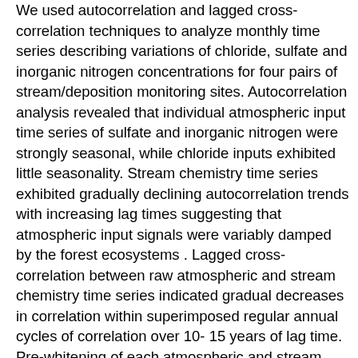We used autocorrelation and lagged cross-correlation techniques to analyze monthly time series describing variations of chloride, sulfate and inorganic nitrogen concentrations for four pairs of stream/deposition monitoring sites. Autocorrelation analysis revealed that individual atmospheric input time series of sulfate and inorganic nitrogen were strongly seasonal, while chloride inputs exhibited little seasonality. Stream chemistry time series exhibited gradually declining autocorrelation trends with increasing lag times suggesting that atmospheric input signals were variably damped by the forest ecosystems . Lagged cross-correlation between raw atmospheric and stream chemistry time series indicated gradual decreases in correlation within superimposed regular annual cycles of correlation over 10- 15 years of lag time. Pre-whitening of each atmospheric and stream time series using regression or ARIMA models removed the influence of long-term trends, seasonal cycles and other factors and revealed occurrence of relatively few and highly variable lag times with significant correlations. While lagged cross-correlation of raw time series data provided some useful insights into the long-term trend and seasonal nature of the linkages between atmospheric deposition and stream chemistry, cross-correlation of shorter-term residual variations after